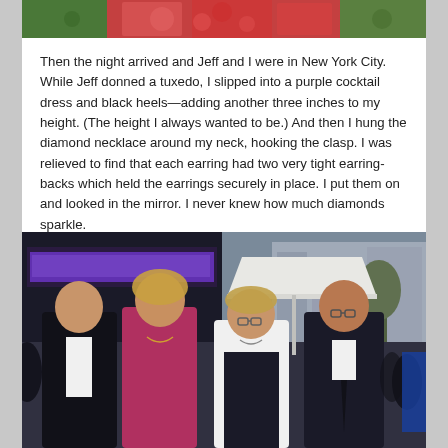[Figure (photo): Partial photo at top of page showing colorful fabric or floral arrangement in red and green tones]
Then the night arrived and Jeff and I were in New York City. While Jeff donned a tuxedo, I slipped into a purple cocktail dress and black heels—adding another three inches to my height. (The height I always wanted to be.) And then I hung the diamond necklace around my neck, hooking the clasp. I was relieved to find that each earring had two very tight earring-backs which held the earrings securely in place. I put them on and looked in the mirror. I never knew how much diamonds sparkle.
[Figure (photo): Four people posing for a photo outdoors in a city setting, likely New York City. Two men in dark suits/tuxedos flank two women. Background shows a venue marquee with purple signage, a white tent, and city buildings. The group is dressed in formal attire for an event.]